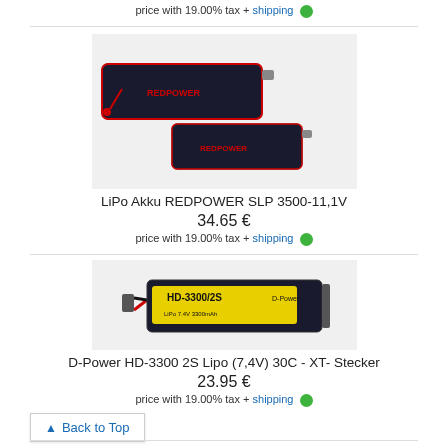price with 19.00% tax + shipping ●
[Figure (photo): Photo of LiPo Akku REDPOWER SLP 3500-11,1V battery pack (three black/red battery packs)]
LiPo Akku REDPOWER SLP 3500-11,1V
34.65 €
price with 19.00% tax + shipping ●
[Figure (photo): Photo of D-Power HD-3300 2S Lipo (7,4V) 30C - XT- Stecker battery (yellow label)]
D-Power HD-3300 2S Lipo (7,4V) 30C - XT- Stecker
23.95 €
price with 19.00% tax + shipping ●
▲ Back to Top